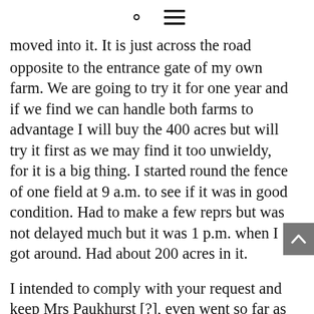[search icon] [menu icon]
moved into it. It is just across the road opposite to the entrance gate of my own farm. We are going to try it for one year and if we find we can handle both farms to advantage I will buy the 400 acres but will try it first as we may find it too unwieldy, for it is a big thing. I started round the fence of one field at 9 a.m. to see if it was in good condition. Had to make a few reprs but was not delayed much but it was 1 p.m. when I got around. Had about 200 acres in it.
I intended to comply with your request and keep Mrs Paukhurst [?], even went so far as to find a man who promised to marry her, but she slipped away before we had our plans consummated. Am sorry to thus disappoint you.